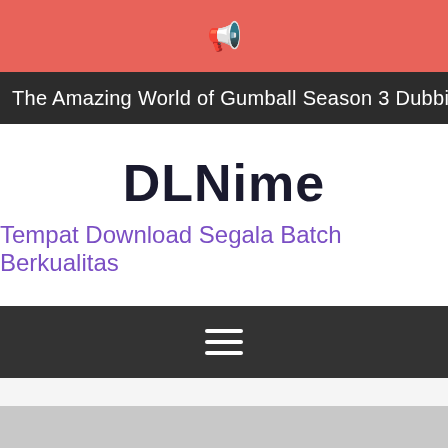[Figure (other): Pink/coral notification bar with megaphone icon]
The Amazing World of Gumball Season 3 Dubbing English [Batch
DLNime
Tempat Download Segala Batch Berkualitas
[Figure (other): Dark navigation bar with hamburger menu icon (three horizontal lines)]
[Figure (other): Gray content area partially visible at bottom of page with bordered box element]